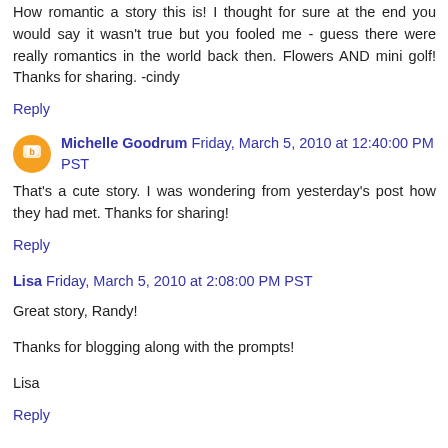How romantic a story this is! I thought for sure at the end you would say it wasn't true but you fooled me - guess there were really romantics in the world back then. Flowers AND mini golf! Thanks for sharing. -cindy
Reply
Michelle Goodrum Friday, March 5, 2010 at 12:40:00 PM PST
That's a cute story. I was wondering from yesterday's post how they had met. Thanks for sharing!
Reply
Lisa Friday, March 5, 2010 at 2:08:00 PM PST
Great story, Randy!
Thanks for blogging along with the prompts!
Lisa
Reply